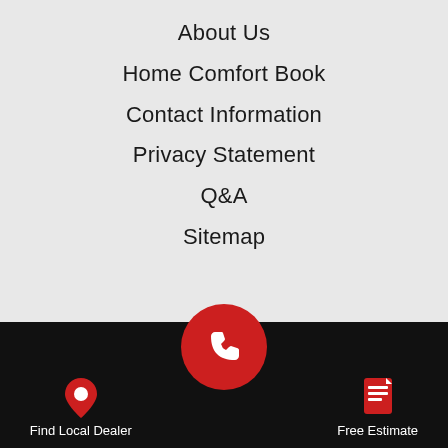About Us
Home Comfort Book
Contact Information
Privacy Statement
Q&A
Sitemap
OUR WORK
Before & After
[Figure (infographic): Social media icons row: YouTube, Facebook, Pinterest, Instagram, LinkedIn, Google]
[Figure (infographic): Top button with upward arrow and text 'Top']
[Figure (infographic): Footer bar with phone icon circle (red), Find Local Dealer (location pin icon), Free Estimate (document icon)]